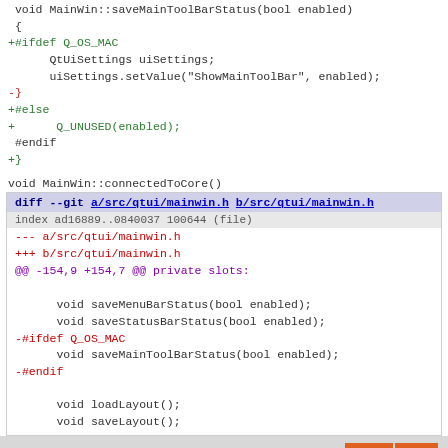void MainWin::saveMainToolBarStatus(bool enabled)
 {
+#ifdef Q_OS_MAC
      QtUiSettings uiSettings;
      uiSettings.setValue("ShowMainToolBar", enabled);
-}
+#else
+      Q_UNUSED(enabled);
 #endif
+}
void MainWin::connectedToCore()
diff --git a/src/qtui/mainwin.h b/src/qtui/mainwin.h
index ad16889..0840037 100644 (file)
--- a/src/qtui/mainwin.h
+++ b/src/qtui/mainwin.h
@@ -154,9 +154,7 @@ private slots:

      void saveMenuBarStatus(bool enabled);
      void saveStatusBarStatus(bool enabled);
-#ifdef Q_OS_MAC
      void saveMainToolBarStatus(bool enabled);
-#endif

      void loadLayout();
      void saveLayout();
Quassel IRC  Atom  RSS